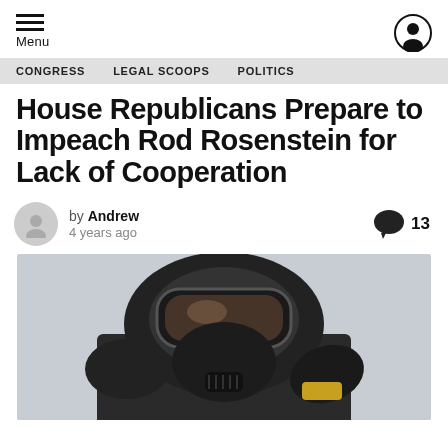Menu
CONGRESS
LEGAL SCOOPS
POLITICS
House Republicans Prepare to Impeach Rod Rosenstein for Lack of Cooperation
by Andrew
4 years ago
13
[Figure (photo): Person wearing black hazmat suit and gas mask with large goggles, holding an object, photographed outdoors against a grey sky]